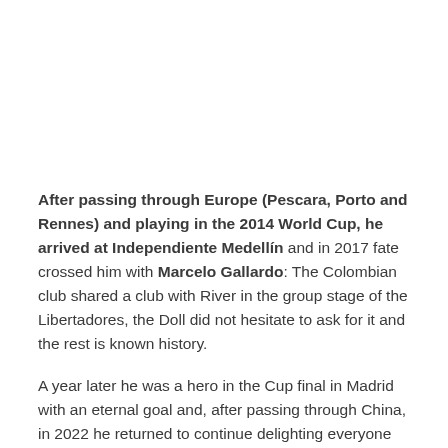After passing through Europe (Pescara, Porto and Rennes) and playing in the 2014 World Cup, he arrived at Independiente Medellín and in 2017 fate crossed him with Marcelo Gallardo: The Colombian club shared a club with River in the group stage of the Libertadores, the Doll did not hesitate to ask for it and the rest is known history.
A year later he was a hero in the Cup final in Madrid with an eternal goal and, after passing through China, in 2022 he returned to continue delighting everyone with his magical left foot, the same